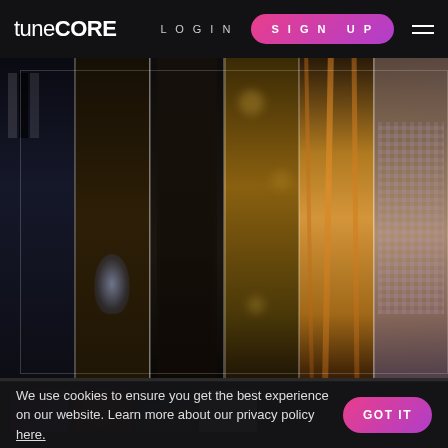tuneCORE | LOGIN | SIGN UP
[Figure (photo): Hero image: collage of musicians in vertical strips - piano keys, glowing hand, person playing instrument, bokeh lights, woman with long red hair, person in checked shirt]
[Figure (photo): Thumbnail strip row showing 7 small preview images in purple, red/orange, blue/dark, white/grey, dark, dark, dark tones]
We use cookies to ensure you get the best experience on our website. Learn more about our privacy policy here.
GOT IT